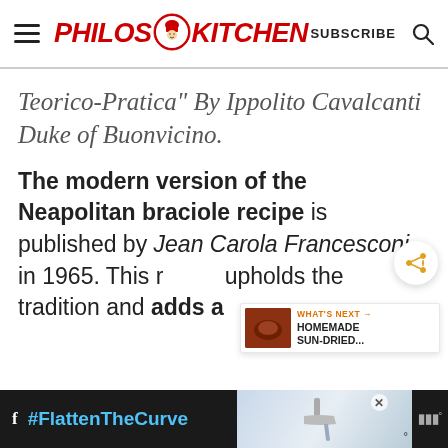Philos Kitchen — SUBSCRIBE
Teorico-Pratica" By Ippolito Cavalcanti Duke of Buonvicino.
The modern version of the Neapolitan braciole recipe is published by Jean Carola Francesconi in 1965. This r... upholds the tradition and adds a
#FlattenTheCurve